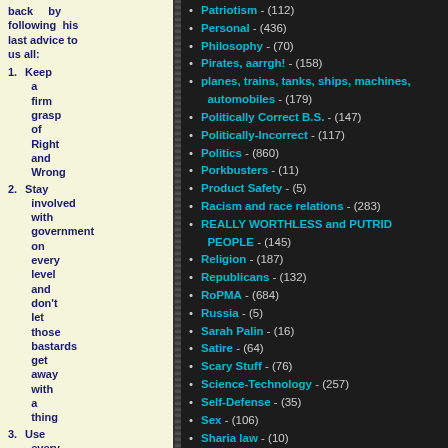back by following his last advice to us all:
1. Keep a firm grasp of Right and Wrong
2. Stay involved with government on every level and don't let those bastards get away with a thing
3. Use every legal means to defend yourself in
Patriotism - (112)
Personal - (436)
Philosophy - (70)
Pirates, aarrgh! - (158)
planes, trains, tanks, ships, machines, automobiles - (179)
Politically Correct B.S. - (147)
Politically-Incorrect - (117)
Politics - (860)
Porkbusters - (11)
Product Safety - (5)
Racism and race relations - (283)
REALLY WORTHLESS and PUTRID PEOPLE - (145)
Religion - (187)
Republicans - (132)
RoPMA - (684)
Russia - (5)
Sarah Palin - (16)
Satire - (64)
Scary Stuff - (76)
Science-Technology - (257)
Self-Defense - (35)
Sex - (106)
Sharia law - (10)
Social-Security - (41)
Space - (41)
SPOOKS - (9)
Sports - (170)
STFU - (0)
Stoopid-People - (1015)
Success Stories - (7)
Super Seniors - (0)
Talented Ppl. - (22)
Taxes - (66)
Television - (55)
Terrorists - (715)
The New Conservatives - (45)
Travelers/Gypsies/Squatters - (130)
TURD WORLD - (27)
Typical White People: Stupid, Evil, Willfully Blind - (36)